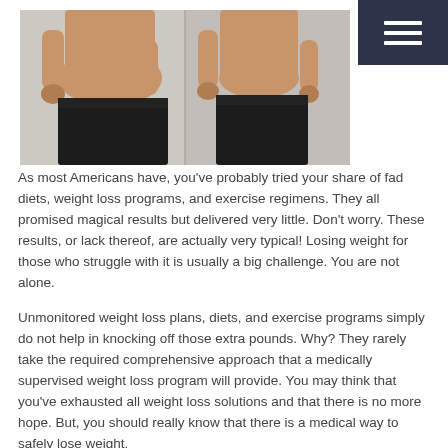[Figure (photo): Before and after side-by-side photo of a person's torso showing weight loss transformation, both views from the side, wearing dark pants]
As most Americans have, you've probably tried your share of fad diets, weight loss programs, and exercise regimens. They all promised magical results but delivered very little. Don't worry. These results, or lack thereof, are actually very typical! Losing weight for those who struggle with it is usually a big challenge. You are not alone.
Unmonitored weight loss plans, diets, and exercise programs simply do not help in knocking off those extra pounds. Why? They rarely take the required comprehensive approach that a medically supervised weight loss program will provide. You may think that you've exhausted all weight loss solutions and that there is no more hope. But, you should really know that there is a medical way to safely lose weight.